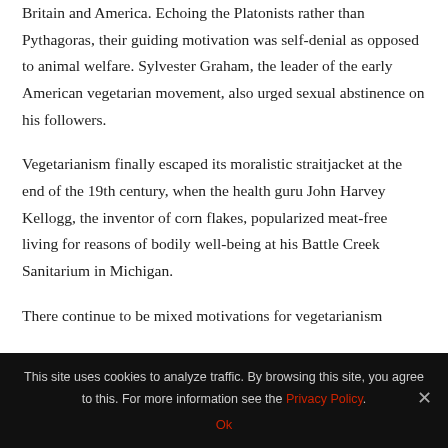Britain and America. Echoing the Platonists rather than Pythagoras, their guiding motivation was self-denial as opposed to animal welfare. Sylvester Graham, the leader of the early American vegetarian movement, also urged sexual abstinence on his followers.
Vegetarianism finally escaped its moralistic straitjacket at the end of the 19th century, when the health guru John Harvey Kellogg, the inventor of corn flakes, popularized meat-free living for reasons of bodily well-being at his Battle Creek Sanitarium in Michigan.
There continue to be mixed motivations for vegetarianism
This site uses cookies to analyze traffic. By browsing this site, you agree to this. For more information see the Privacy Policy.
Ok